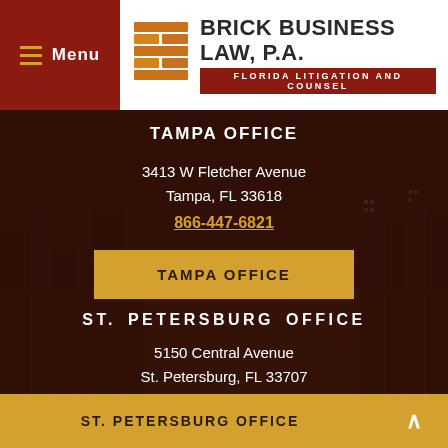[Figure (logo): Brick Business Law, P.A. logo with brick icon and subtitle Florida Litigation and Counsel]
TAMPA OFFICE
3413 W Fletcher Avenue
Tampa, FL 33618
866-447-6821
TAMPA OFFICE
ST. PETERSBURG OFFICE
5150 Central Avenue
St. Petersburg, FL 33707
866-447-6821
ST. PETERSBURG OFFICE